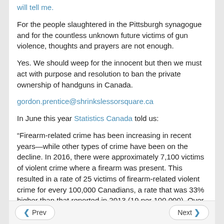will tell me.
For the people slaughtered in the Pittsburgh synagogue and for the countless unknown future victims of gun violence, thoughts and prayers are not enough.
Yes. We should weep for the innocent but then we must act with purpose and resolution to ban the private ownership of handguns in Canada.
gordon.prentice@shrinkslessorsquare.ca
In June this year Statistics Canada told us:
“Firearm-related crime has been increasing in recent years—while other types of crime have been on the decline. In 2016, there were approximately 7,100 victims of violent crime where a firearm was present. This resulted in a rate of 25 victims of firearm-related violent crime for every 100,000 Canadians, a rate that was 33% higher than that reported in 2013 (19 per 100,000). Over the same time, the rate of overall police-reported violent crime declined by 4%”
Update on 30 October 2018: I asked my MPP for her views on the possible ban on handguns by email on 28 October 2018. If she chooses to reply to me I shall post her response in full.
Prev  Next